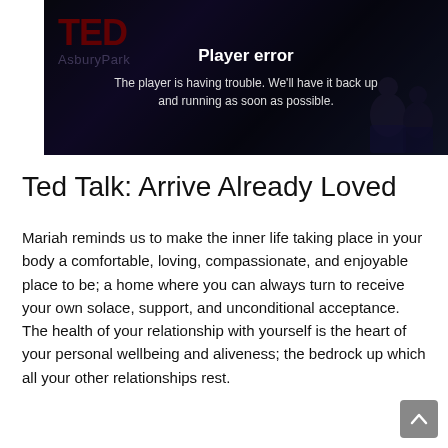[Figure (screenshot): Video player showing a TED Talk with a 'Player error' overlay message. Background shows a dark stage with TED logo and 'AsburyPark' text visible. Two silhouetted figures appear on stage. Overlay reads: 'Player error' and 'The player is having trouble. We'll have it back up and running as soon as possible.']
Ted Talk: Arrive Already Loved
Mariah reminds us to make the inner life taking place in your body a comfortable, loving, compassionate, and enjoyable place to be; a home where you can always turn to receive your own solace, support, and unconditional acceptance. The health of your relationship with yourself is the heart of your personal wellbeing and aliveness; the bedrock up which all your other relationships rest.